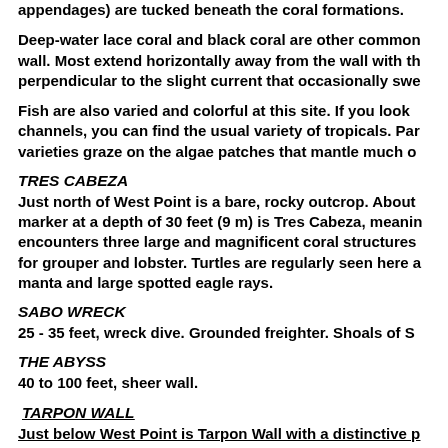appendages) are tucked beneath the coral formations.
Deep-water lace coral and black coral are other common wall. Most extend horizontally away from the wall with th perpendicular to the slight current that occasionally swe
Fish are also varied and colorful at this site. If you look channels, you can find the usual variety of tropicals. Par varieties graze on the algae patches that mantle much o
TRES CABEZA
Just north of West Point is a bare, rocky outcrop. About marker at a depth of 30 feet (9 m) is Tres Cabeza, meanin encounters three large and magnificent coral structures for grouper and lobster. Turtles are regularly seen here a manta and large spotted eagle rays.
SABO WRECK
25 - 35 feet, wreck dive. Grounded freighter. Shoals of S
THE ABYSS
40 to 100 feet, sheer wall.
TARPON WALL
Just below West Point is Tarpon Wall with a distinctive p drops gently to a depth of 35 feet (11 m) over a distance